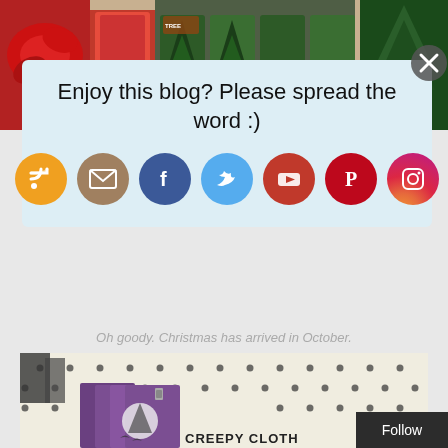[Figure (photo): Top portion of a photo showing Christmas decorations including a red poinsettia, red tinsel, and green bottle brush trees in packaging, in a store setting.]
Enjoy this blog? Please spread the word :)
[Figure (infographic): Row of social media sharing icons: RSS (orange), Email (tan/beige), Facebook (blue), Twitter (light blue), YouTube (red), Pinterest (red/dark), Instagram (purple gradient).]
Oh goody. Christmas has arrived in October.
[Figure (photo): Bottom photo showing Halloween merchandise on pegboard display with purple 'Creepy Cloth' product packaging visible.]